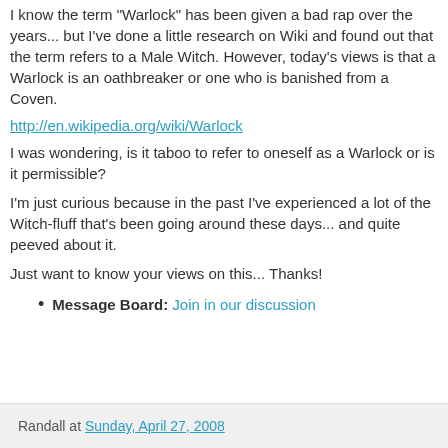I know the term "Warlock" has been given a bad rap over the years... but I've done a little research on Wiki and found out that the term refers to a Male Witch. However, today's views is that a Warlock is an oathbreaker or one who is banished from a Coven.
http://en.wikipedia.org/wiki/Warlock
I was wondering, is it taboo to refer to oneself as a Warlock or is it permissible?
I'm just curious because in the past I've experienced a lot of the Witch-fluff that's been going around these days... and quite peeved about it.
Just want to know your views on this... Thanks!
Message Board: Join in our discussion
Randall at Sunday, April 27, 2008